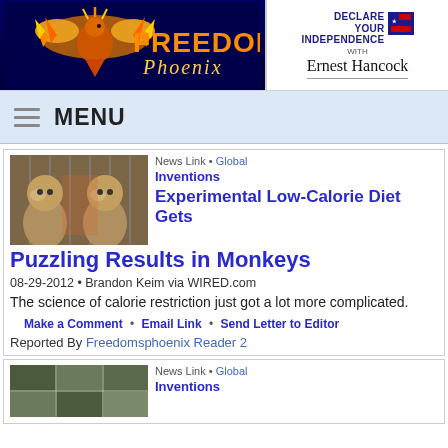[Figure (logo): Freedom's Phoenix logo with phoenix bird on dark blue background]
[Figure (logo): Declare Your Independence with Ernest Hancock logo]
MENU
News Link • Global
Inventions
Experimental Low-Calorie Diet Gets Puzzling Results in Monkeys
08-29-2012 • Brandon Keim via WIRED.com
The science of calorie restriction just got a lot more complicated.
Make a Comment • Email Link • Send Letter to Editor
Reported By Freedomsphoenix Reader 2
News Link • Global
Inventions